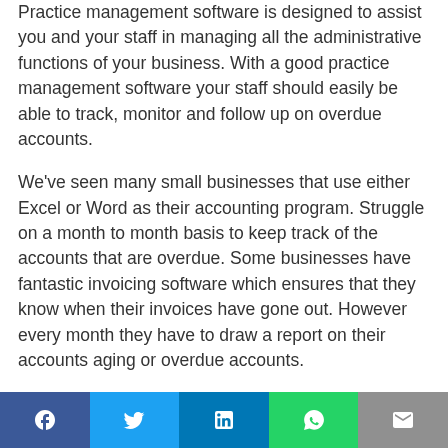Practice management software is designed to assist you and your staff in managing all the administrative functions of your business. With a good practice management software your staff should easily be able to track, monitor and follow up on overdue accounts.
We've seen many small businesses that use either Excel or Word as their accounting program. Struggle on a month to month basis to keep track of the accounts that are overdue. Some businesses have fantastic invoicing software which ensures that they know when their invoices have gone out. However every month they have to draw a report on their accounts aging or overdue accounts.
Using Excel, Word or reports pulled from software is not the worst way to collect or follow up on overdue accounts, but it is not the most…